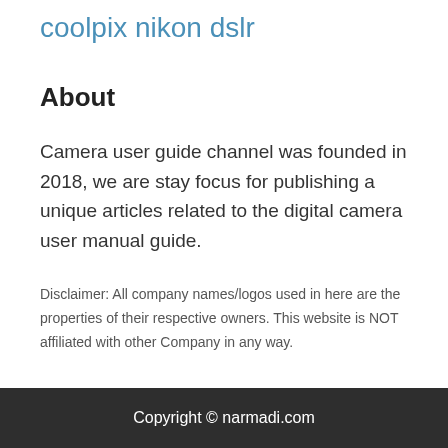coolpix nikon dslr
About
Camera user guide channel was founded in 2018, we are stay focus for publishing a unique articles related to the digital camera user manual guide.
Disclaimer: All company names/logos used in here are the properties of their respective owners. This website is NOT affiliated with other Company in any way.
Copyright © narmadi.com